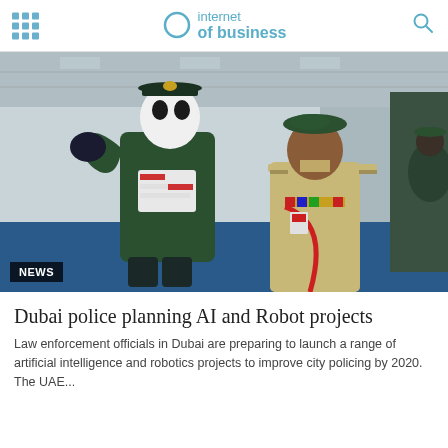internet of business
[Figure (photo): A humanoid robot in a green and black police uniform with a white face and cap saluting, standing next to a human Dubai police officer in a khaki uniform with medals, at what appears to be a technology expo or trade show with a blue floor.]
Dubai police planning AI and Robot projects
Law enforcement officials in Dubai are preparing to launch a range of artificial intelligence and robotics projects to improve city policing by 2020. The UAE...